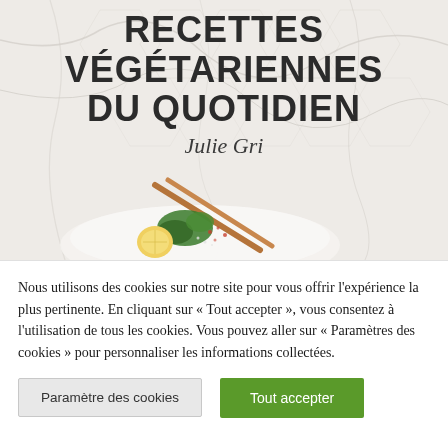[Figure (illustration): Book cover for 'Recettes Végétariennes du Quotidien' by Julie Gri. Marble white background with hexagonal tile pattern. Title in bold black uppercase letters. Author name in cursive script. Lower portion shows a white bowl with vegetarian food (broccoli, lemon, sesame seeds, greens) and chopsticks resting on it.]
RECETTES VÉGÉTARIENNES DU QUOTIDIEN
Julie Gri
Nous utilisons des cookies sur notre site pour vous offrir l'expérience la plus pertinente. En cliquant sur « Tout accepter », vous consentez à l'utilisation de tous les cookies. Vous pouvez aller sur « Paramètres des cookies » pour personnaliser les informations collectées.